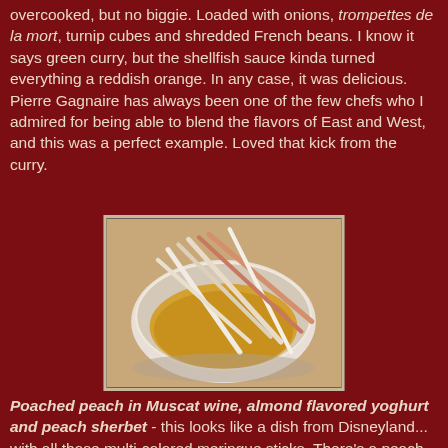overcooked, but no biggie. Loaded with onions, trompettes de la mort, turnip cubes and shredded French beans. I know it says green curry, but the shellfish sauce kinda turned everything a reddish orange. In any case, it was delicious. Pierre Gagnaire has always been one of the few chefs who I admired for being able to blend the flavors of East and West, and this was a perfect example. Loved that kick from the curry.
[Figure (photo): A white bowl containing yellow/orange content (likely a curry or dessert) with multiple long thin sticks (meringue sticks in various colors - white, cream, pink/salmon) arranged crossing each other in the bowl, viewed from above at an angle.]
Poached peach in Muscat wine, almond flavored yoghurt and peach sherbet - this looks like a dish from Disneyland... with all those multi-colored meringue sticks. There's a peach poached in Muscat de Baumes-de-Venise at the bottom, surrounded by Muscat jelly and peach foam and topped with peach ice cream. The peach was really delicious, although I